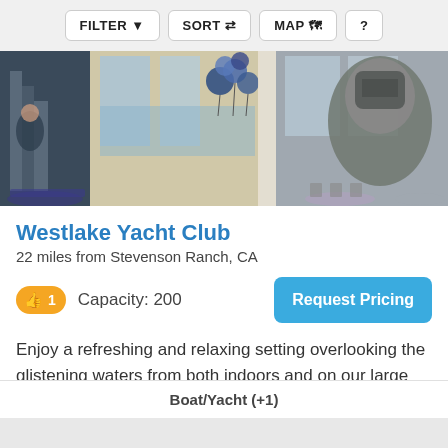FILTER  SORT  MAP  ?
[Figure (photo): Interior of Westlake Yacht Club event space with balloons, tables, and a view of water through large windows. A mascot costume figure is visible on the right.]
Westlake Yacht Club
22 miles from Stevenson Ranch, CA
👍 1   Capacity: 200
Enjoy a refreshing and relaxing setting overlooking the glistening waters from both indoors and on our large outdoor deck. Whether for a ceremony and reception, business retreat, or other special occasion, the beautiful clubhouse and expans
Boat/Yacht (+1)